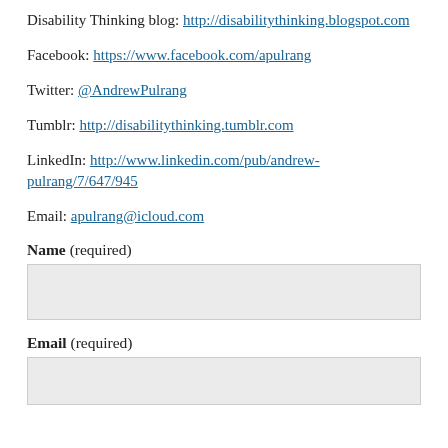Disability Thinking blog: http://disabilitythinking.blogspot.com
Facebook: https://www.facebook.com/apulrang
Twitter: @AndrewPulrang
Tumblr: http://disabilitythinking.tumblr.com
LinkedIn: http://www.linkedin.com/pub/andrew-pulrang/7/647/945
Email: apulrang@icloud.com
Name (required)
Email (required)